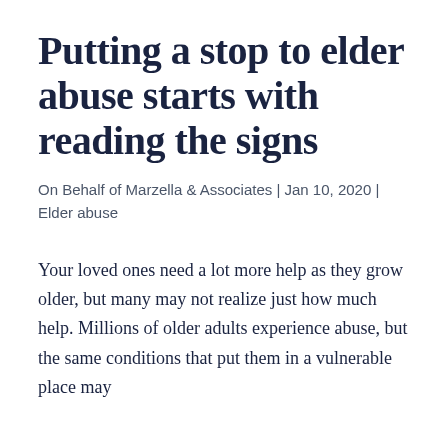Putting a stop to elder abuse starts with reading the signs
On Behalf of Marzella & Associates | Jan 10, 2020 | Elder abuse
Your loved ones need a lot more help as they grow older, but many may not realize just how much help. Millions of older adults experience abuse, but the same conditions that put them in a vulnerable place may